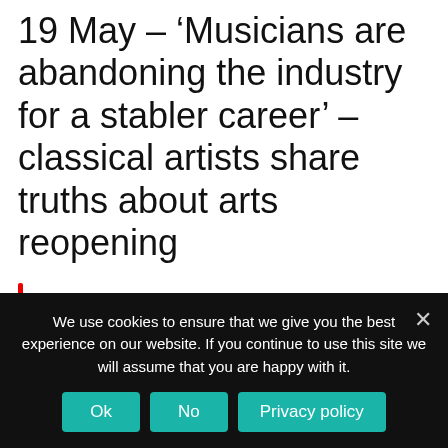19 May – 'Musicians are abandoning the industry for a stabler career' – classical artists share truths about arts reopening
The arts and live music are gradually being restored. But the long-term impact on musicians has been disastrous and many are leaving the profession entirely, say the classical industry's leading figures.
We use cookies to ensure that we give you the best experience on our website. If you continue to use this site we will assume that you are happy with it.